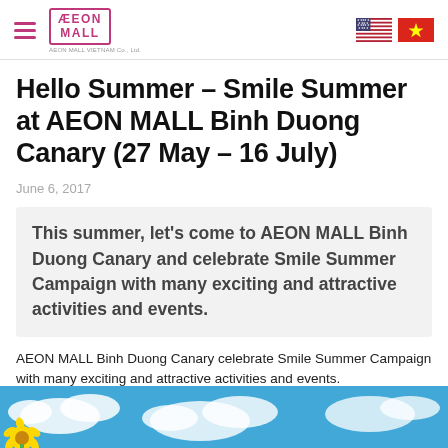AEON MALL VIETNAM Co., Ltd.
Hello Summer – Smile Summer at AEON MALL Binh Duong Canary (27 May – 16 July)
June 6, 2017
This summer, let's come to AEON MALL Binh Duong Canary and celebrate Smile Summer Campaign with many exciting and attractive activities and events.
AEON MALL Binh Duong Canary celebrate Smile Summer Campaign with many exciting and attractive activities and events.
[Figure (photo): Bottom strip of a summer-themed promotional image showing bright blue sky, clouds, and a yellow sunflower decoration.]